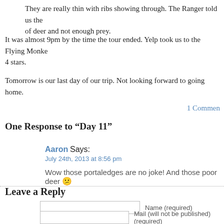They are really thin with ribs showing through. The Ranger told us the of deer and not enough prey.
It was almost 9pm by the time the tour ended. Yelp took us to the Flying Monke 4 stars.
Tomorrow is our last day of our trip. Not looking forward to going home.
1 Comment
One Response to “Day 11”
Aaron Says:
July 24th, 2013 at 8:56 pm
Wow those portaledges are no joke! And those poor deer 😕
Leave a Reply
Name (required)
Mail (will not be published) (required)
Website